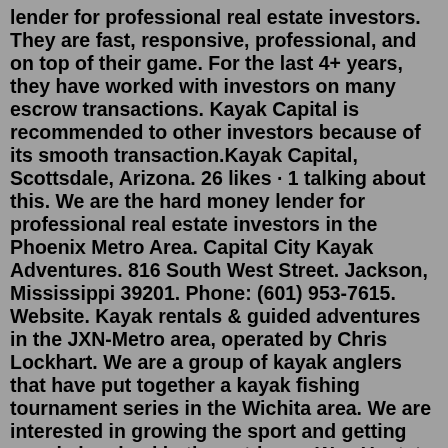lender for professional real estate investors. They are fast, responsive, professional, and on top of their game. For the last 4+ years, they have worked with investors on many escrow transactions. Kayak Capital is recommended to other investors because of its smooth transaction.Kayak Capital, Scottsdale, Arizona. 26 likes · 1 talking about this. We are the hard money lender for professional real estate investors in the Phoenix Metro Area. Capital City Kayak Adventures. 816 South West Street. Jackson, Mississippi 39201. Phone: (601) 953-7615. Website. Kayak rentals & guided adventures in the JXN-Metro area, operated by Chris Lockhart. We are a group of kayak anglers that have put together a kayak fishing tournament series in the Wichita area. We are interested in growing the sport and getting people involved in the outdoors. We...Upstate Kayak Rentals wants you to explore all the various beautiful waterways the Capital District has to offer in the most convenient way possible. Upstate Kayak Rentals